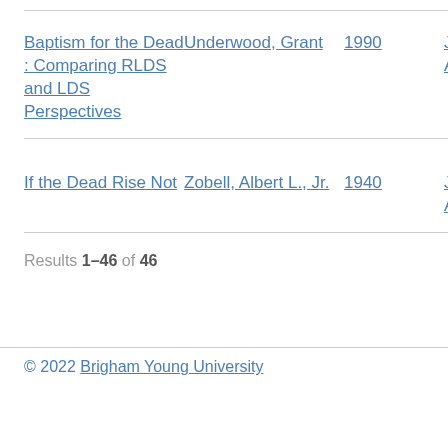Baptism for the Dead : Comparing RLDS and LDS Perspectives | Underwood, Grant | 1990 | Jour... Art...
If the Dead Rise Not | Zobell, Albert L., Jr. | 1940 | Jour... Art...
Results 1–46 of 46
© 2022 Brigham Young University